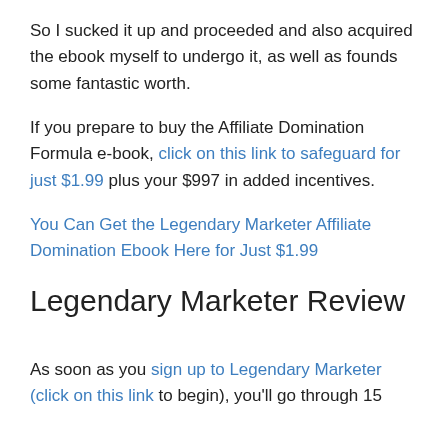So I sucked it up and proceeded and also acquired the ebook myself to undergo it, as well as founds some fantastic worth.
If you prepare to buy the Affiliate Domination Formula e-book, click on this link to safeguard for just $1.99 plus your $997 in added incentives.
You Can Get the Legendary Marketer Affiliate Domination Ebook Here for Just $1.99
Legendary Marketer Review
As soon as you sign up to Legendary Marketer (click on this link to begin), you'll go through 15